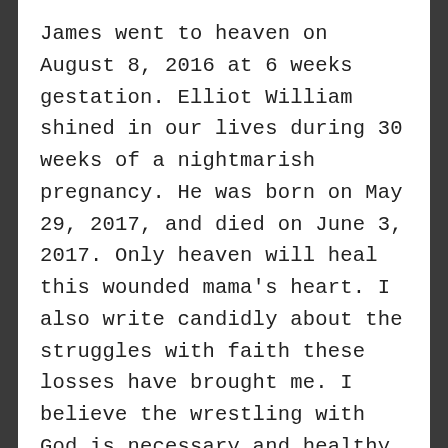James went to heaven on August 8, 2016 at 6 weeks gestation. Elliot William shined in our lives during 30 weeks of a nightmarish pregnancy. He was born on May 29, 2017, and died on June 3, 2017. Only heaven will heal this wounded mama's heart. I also write candidly about the struggles with faith these losses have brought me. I believe the wrestling with God is necessary and healthy as my belief system is redefined and my relationship with Him is refined. If you are reading, it is my hope that you will be moved to listen to others with deep compassion, and share your own stories of life, love